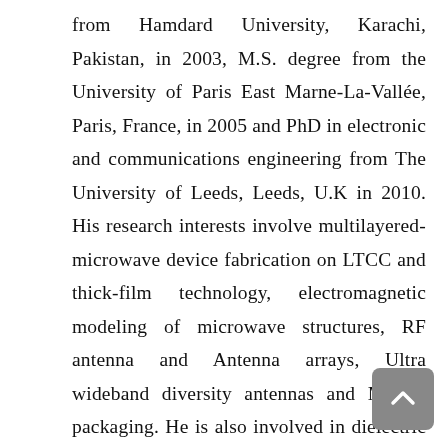from Hamdard University, Karachi, Pakistan, in 2003, M.S. degree from the University of Paris East Marne-La-Vallée, Paris, France, in 2005 and PhD in electronic and communications engineering from The University of Leeds, Leeds, U.K in 2010. His research interests involve multilayered-microwave device fabrication on LTCC and thick-film technology, electromagnetic modeling of microwave structures, RF antenna and Antenna arrays, Ultra wideband diversity antennas and MEMS packaging. He is also involved in dielectric characterization of materials using microwave techniques and fabrication of ceramic microfluidic devices. In 2005, he was an